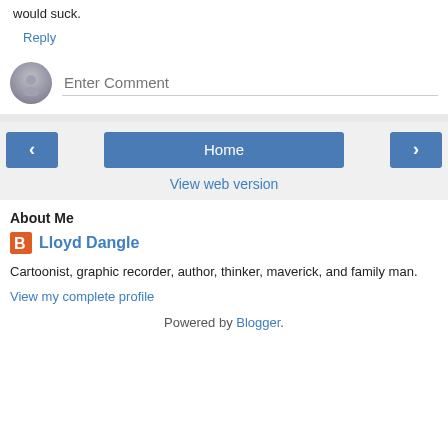would suck.
Reply
[Figure (other): Comment input area with avatar and Enter Comment placeholder]
[Figure (other): Navigation buttons: left arrow, Home, right arrow]
View web version
About Me
Lloyd Dangle
Cartoonist, graphic recorder, author, thinker, maverick, and family man.
View my complete profile
Powered by Blogger.